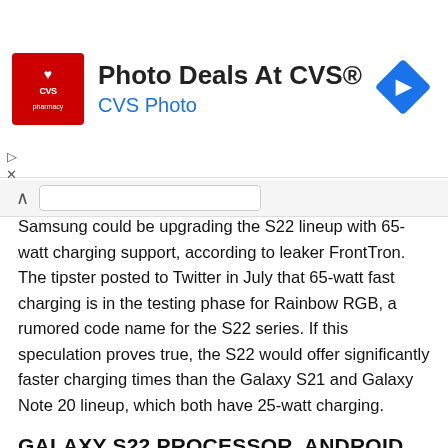[Figure (other): CVS Pharmacy advertisement banner with red CVS pharmacy logo on the left, bold text 'Photo Deals At CVS®' and blue text 'CVS Photo', and a blue diamond-shaped arrow icon on the right]
Samsung could be upgrading the S22 lineup with 65-watt charging support, according to leaker FrontTron. The tipster posted to Twitter in July that 65-watt fast charging is in the testing phase for Rainbow RGB, a rumored code name for the S22 series. If this speculation proves true, the S22 would offer significantly faster charging times than the Galaxy S21 and Galaxy Note 20 lineup, which both have 25-watt charging.
GALAXY S22 PROCESSOR, ANDROID VERSION AND DISPLAY
Samsung tends to use both Qualcomm Snapdragon chips and its own Exynos processors in its S series phones —